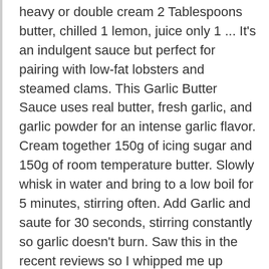heavy or double cream 2 Tablespoons butter, chilled 1 lemon, juice only 1 ... It's an indulgent sauce but perfect for pairing with low-fat lobsters and steamed clams. This Garlic Butter Sauce uses real butter, fresh garlic, and garlic powder for an intense garlic flavor. Cream together 150g of icing sugar and 150g of room temperature butter. Slowly whisk in water and bring to a low boil for 5 minutes, stirring often. Add Garlic and saute for 30 seconds, stirring constantly so garlic doesn't burn. Saw this in the recent reviews so I whipped me up some for lunch. Even heat is a key to a sauce not breaking on you, so you need a quality saucier pan. I modified this recipe a bit... a little less seasoning, couple more garlic cloves, tiny bit of olive oil, and added small chunks of mozarella cheese to the pasta... and it turned out to be a GREAT recipe. Marcus Nilsson; Styling: Angharad Bailey, 8 servings (serving size: about 1 tablespoon). Add comma